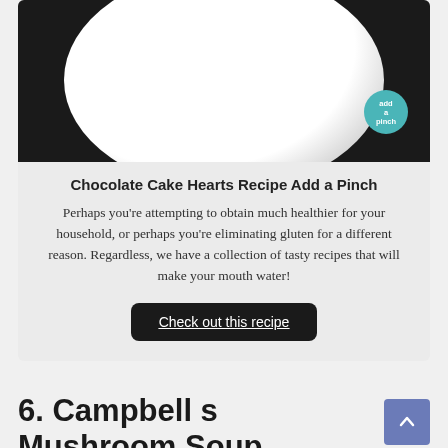[Figure (photo): Photo of a white plate on a dark background with 'add a pinch' badge in teal circle]
Chocolate Cake Hearts Recipe Add a Pinch
Perhaps you're attempting to obtain much healthier for your household, or perhaps you're eliminating gluten for a different reason. Regardless, we have a collection of tasty recipes that will make your mouth water!
Check out this recipe
6. Campbell s Mushroom Soup Chicken Casserole Easy And Cheap